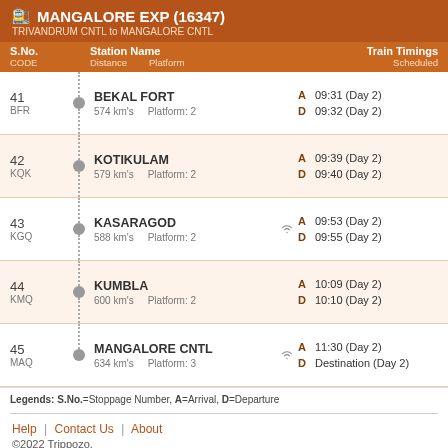🚉 MANGALORE EXP (16347)
TRIVANDRUM CNTL to MANGALORE CNTL
| S.No. CODE | Station Name | Distance | Platform | Train Timings Scheduled |
| --- | --- | --- |
| 41 BFR | BEKAL FORT | 574 km's | Platform: 2 | A 09:31 (Day 2)
D 09:32 (Day 2) |
| 42 KQK | KOTIKULAM | 579 km's | Platform: 2 | A 09:39 (Day 2)
D 09:40 (Day 2) |
| 43 KGQ | KASARAGOD | 588 km's | Platform: 2 [wifi] | A 09:53 (Day 2)
D 09:55 (Day 2) |
| 44 KMQ | KUMBLA | 600 km's | Platform: 2 | A 10:09 (Day 2)
D 10:10 (Day 2) |
| 45 MAQ | MANGALORE CNTL | 634 km's | Platform: 3 [wifi] | A 11:30 (Day 2)
D Destination (Day 2) |
Legends: S.No.=Stoppage Number, A=Arrival, D=Departure
Help | Contact Us | About
©2022 Trippozo.